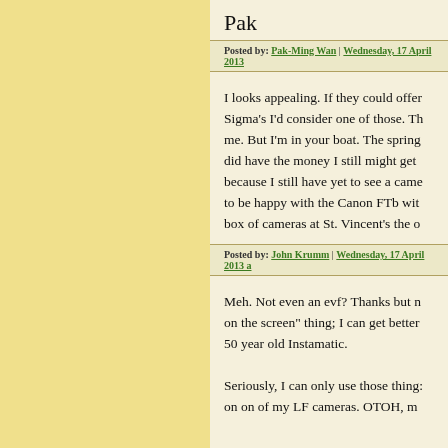Pak
Posted by: Pak-Ming Wan | Wednesday, 17 April 2013
I looks appealing. If they could offer Sigma's I'd consider one of those. Th me. But I'm in your boat. The spring did have the money I still might get because I still have yet to see a came to be happy with the Canon FTb wit box of cameras at St. Vincent's the o
Posted by: John Krumm | Wednesday, 17 April 2013 a
Meh. Not even an evf? Thanks but n on the screen" thing; I can get better 50 year old Instamatic.
Seriously, I can only use those thing: on on of my LF cameras. OTOH, m